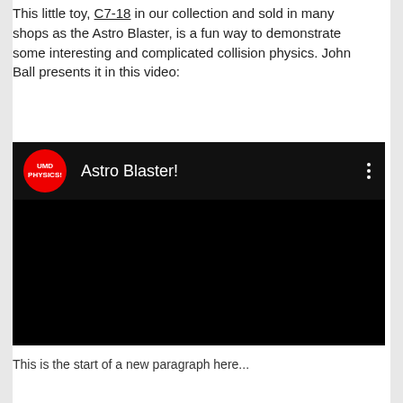This little toy, C7-18 in our collection and sold in many shops as the Astro Blaster, is a fun way to demonstrate some interesting and complicated collision physics. John Ball presents it in this video:
[Figure (screenshot): YouTube video embed showing 'Astro Blaster!' with a red circular UMD PHYSICS! channel logo on the left, white title text, and three-dot menu on the right, over a black video background.]
This is the start of another paragraph...